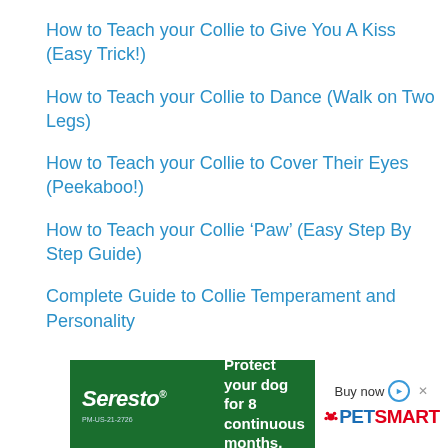How to Teach your Collie to Give You A Kiss (Easy Trick!)
How to Teach your Collie to Dance (Walk on Two Legs)
How to Teach your Collie to Cover Their Eyes (Peekaboo!)
How to Teach your Collie ‘Paw’ (Easy Step By Step Guide)
Complete Guide to Collie Temperament and Personality
[Figure (other): Seresto advertisement banner: green background on left with Seresto logo and tagline 'Protect your dog for 8 continuous months.', white right side with 'Buy now' and PetSmart logo.]